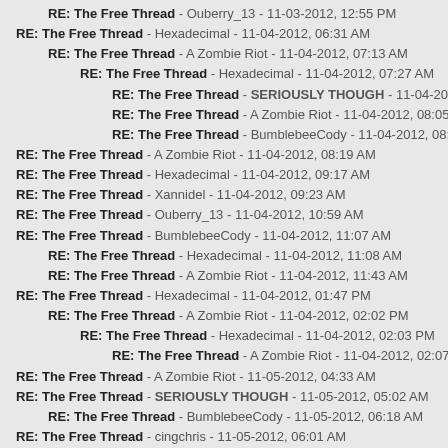RE: The Free Thread - Ouberry_13 - 11-03-2012, 12:55 PM
RE: The Free Thread - Hexadecimal - 11-04-2012, 06:31 AM
RE: The Free Thread - A Zombie Riot - 11-04-2012, 07:13 AM
RE: The Free Thread - Hexadecimal - 11-04-2012, 07:27 AM
RE: The Free Thread - SERIOUSLY THOUGH - 11-04-2012, 07:28 AM
RE: The Free Thread - A Zombie Riot - 11-04-2012, 08:05 AM
RE: The Free Thread - BumblebeeCody - 11-04-2012, 08:09 AM
RE: The Free Thread - A Zombie Riot - 11-04-2012, 08:19 AM
RE: The Free Thread - Hexadecimal - 11-04-2012, 09:17 AM
RE: The Free Thread - Xannidel - 11-04-2012, 09:23 AM
RE: The Free Thread - Ouberry_13 - 11-04-2012, 10:59 AM
RE: The Free Thread - BumblebeeCody - 11-04-2012, 11:07 AM
RE: The Free Thread - Hexadecimal - 11-04-2012, 11:08 AM
RE: The Free Thread - A Zombie Riot - 11-04-2012, 11:43 AM
RE: The Free Thread - Hexadecimal - 11-04-2012, 01:47 PM
RE: The Free Thread - A Zombie Riot - 11-04-2012, 02:02 PM
RE: The Free Thread - Hexadecimal - 11-04-2012, 02:03 PM
RE: The Free Thread - A Zombie Riot - 11-04-2012, 02:07 PM
RE: The Free Thread - A Zombie Riot - 11-05-2012, 04:33 AM
RE: The Free Thread - SERIOUSLY THOUGH - 11-05-2012, 05:02 AM
RE: The Free Thread - BumblebeeCody - 11-05-2012, 06:18 AM
RE: The Free Thread - cingchris - 11-05-2012, 06:01 AM
RE: The Free Thread - A Zombie Riot - 11-05-2012, 06:41 AM
RE: The Free Thread - Hexadecimal - 11-05-2012, 08:43 AM
RE: The Free Thread - Ouberry_13 - 11-05-2012, 09:00 AM